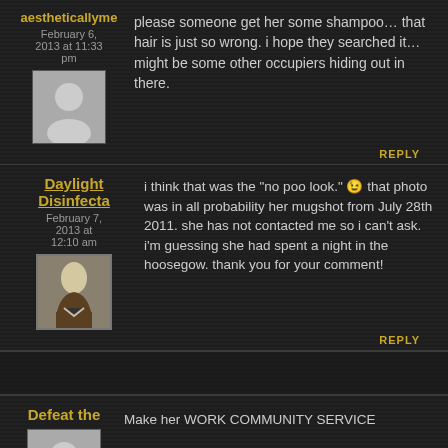aestheticallyme — February 6, 2013 at 11:33 pm
please someone get her some shampoo… that hair is just so wrong. i hope they searched it… might be some other occupiers hiding out in there.
REPLY
Daylight Disinfecta — February 7, 2013 at 12:10 am
i think that was the "no poo look." 😉 that photo was in all probability her mugshot from July 28th 2011. she has not contacted me so i can't ask. i'm guessing she had spent a night in the hoosegow. thank you for your comment!
REPLY
Defeat the — Make her WORK COMMUNITY SERVICE